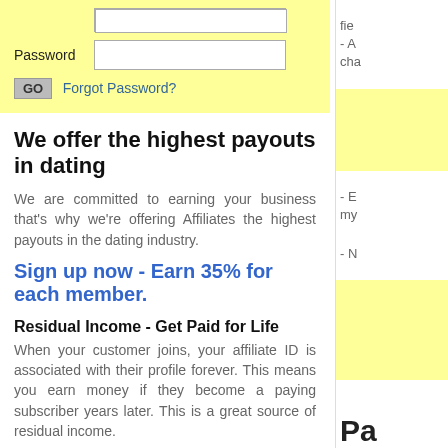[Figure (screenshot): Login form with Password field and input box, GO button and Forgot Password link on yellow background]
We offer the highest payouts in dating
We are committed to earning your business that's why we're offering Affiliates the highest payouts in the dating industry.
Sign up now - Earn 35% for each member.
Residual Income - Get Paid for Life
When your customer joins, your affiliate ID is associated with their profile forever. This means you earn money if they become a paying subscriber years later. This is a great source of residual income.
Partner with the Conversion Specialist
Our strong brand name will convert your traffic. With over 8 years in the dating industry we have the expertise you want to partner with. We have fine tuned our product to yield one of the highest conversion rates in the industry. Partner with attractive-date.com and benefit from hands our customer support, reliable payments, and start making more money than any other program.
Strong Brand Recognition
attractive-date.com, our name says it all and will drive more clicks which means more money.